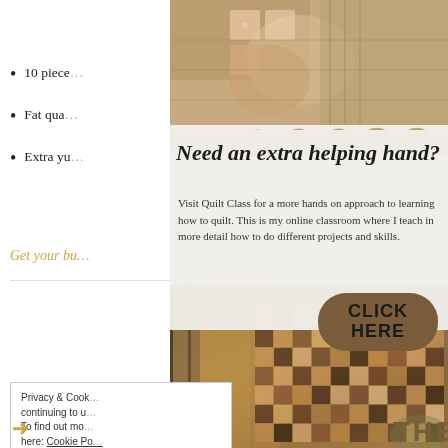10 piece...
Fat qua...
Extra yu...
Get your bu...
[Figure (photo): Quilt class advertisement overlay with photo of person holding quilts, torn paper edge design]
Need an extra helping hand?
Visit Quilt Class for a more hands on approach to learning how to quilt. This is my online classroom where I teach in more detail how to do different projects and skills.
CLICK HERE
Privacy & Cook... continuing to u... To find out mo... here: Cookie Po...
THE QUILT